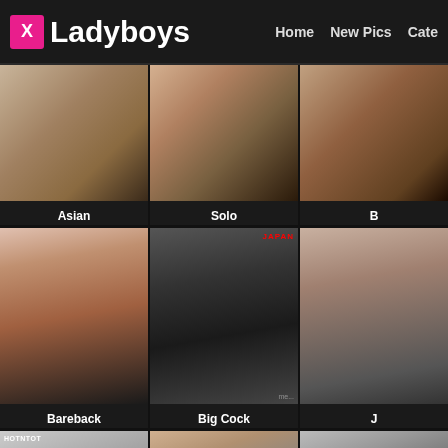X Ladyboys — Home | New Pics | Cate...
[Figure (photo): Adult content website screenshot showing grid of thumbnail images with category labels: Asian, Solo, Bareback, Big Cock, and others. Navigation header with logo and menu items Home, New Pics, Cate...]
Asian
Solo
Bareback
Big Cock